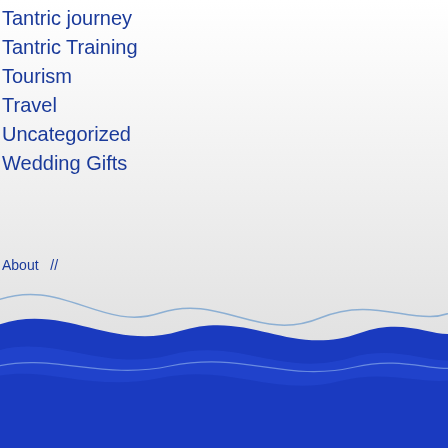Tantric journey
Tantric Training
Tourism
Travel
Uncategorized
Wedding Gifts
About  //
[Figure (illustration): Blue wave design at the bottom of the page with two overlapping wave shapes in dark blue and a lighter blue outline wave above them]